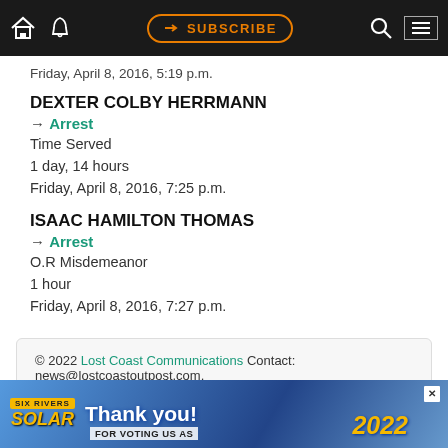Navigation bar with home, bell, SUBSCRIBE, search, and menu icons
Friday, April 8, 2016, 5:19 p.m.
DEXTER COLBY HERRMANN
→ Arrest
Time Served
1 day, 14 hours
Friday, April 8, 2016, 7:25 p.m.
ISAAC HAMILTON THOMAS
→ Arrest
O.R Misdemeanor
1 hour
Friday, April 8, 2016, 7:27 p.m.
© 2022 Lost Coast Communications Contact: news@lostcoastoutpost.com.
[Figure (infographic): Six Rivers Solar advertisement banner: 'Thank you! FOR VOTING US AS 2022']